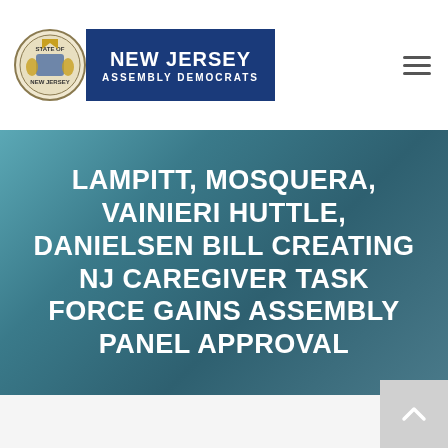NEW JERSEY ASSEMBLY DEMOCRATS
LAMPITT, MOSQUERA, VAINIERI HUTTLE, DANIELSEN BILL CREATING NJ CAREGIVER TASK FORCE GAINS ASSEMBLY PANEL APPROVAL